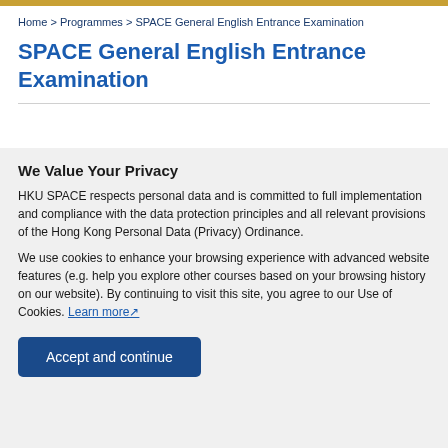Home > Programmes > SPACE General English Entrance Examination
SPACE General English Entrance Examination
We Value Your Privacy
HKU SPACE respects personal data and is committed to full implementation and compliance with the data protection principles and all relevant provisions of the Hong Kong Personal Data (Privacy) Ordinance.
We use cookies to enhance your browsing experience with advanced website features (e.g. help you explore other courses based on your browsing history on our website). By continuing to visit this site, you agree to our Use of Cookies. Learn more
Accept and continue